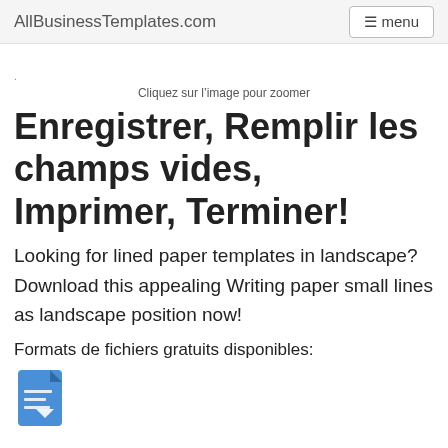AllBusinessTemplates.com  menu
Cliquez sur l’image pour zoomer
Enregistrer, Remplir les champs vides, Imprimer, Terminer!
Looking for lined paper templates in landscape? Download this appealing Writing paper small lines as landscape position now!
Formats de fichiers gratuits disponibles:
[Figure (illustration): File document icon in blue, partially visible at bottom of page]